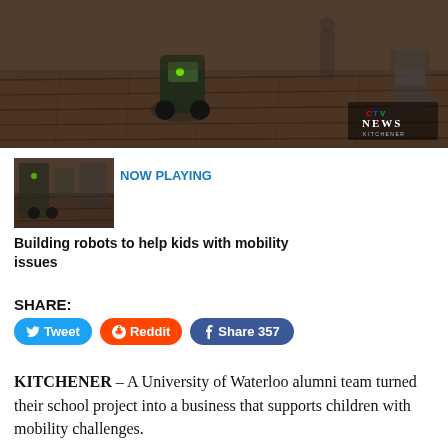[Figure (photo): Video still showing a mobility robot/power wheelchair device on a wood floor in an office or lab space, with a CTV News Kitchener logo watermark in the bottom right corner]
[Figure (screenshot): Small thumbnail image of the same video showing the lab workspace with robots and people]
NOW PLAYING
Building robots to help kids with mobility issues
SHARE:
Tweet
Reddit
Share 357
KITCHENER – A University of Waterloo alumni team turned their school project into a business that supports children with mobility challenges.